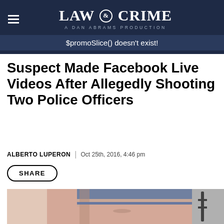LAW & CRIME | A DAN ABRAMS PRODUCTION
$promoSlice() doesn't exist!
Suspect Made Facebook Live Videos After Allegedly Shooting Two Police Officers
ALBERTO LUPERON | Oct 25th, 2016, 4:46 pm
SHARE
[Figure (photo): A person with a grey/blue beanie hat, eyes closed or nearly closed, face visible with blurred background showing dark decorative elements]